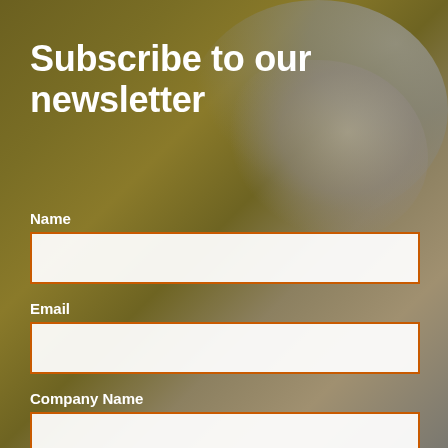Subscribe to our newsletter
Name
[Figure (other): Empty text input field for Name with orange border]
Email
[Figure (other): Empty text input field for Email with orange border]
Company Name
[Figure (other): Empty text input field for Company Name with orange border]